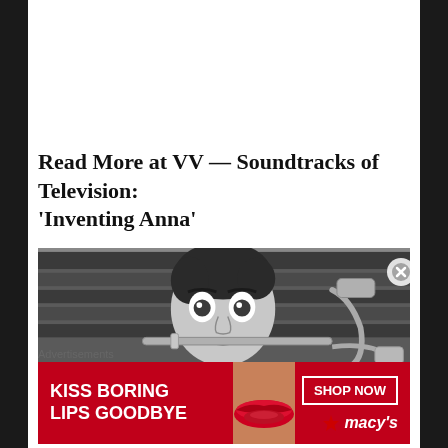Read More at VV — Soundtracks of Television: 'Inventing Anna'
[Figure (photo): Black and white photo of a person in costume with wide eyes, holding or biting a metal tube/instrument, with mechanical equipment visible, in a dramatic comedic pose]
Advertisements
[Figure (infographic): Macy's advertisement banner with red background showing 'KISS BORING LIPS GOODBYE' text on left, a close-up of lips and face in center, and 'SHOP NOW' button with Macy's star logo on right]